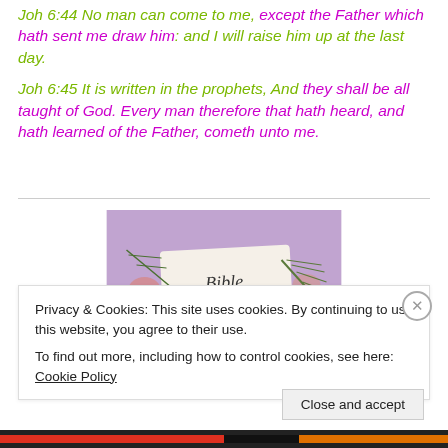Joh 6:44  No man can come to me, except the Father which hath sent me draw him: and I will raise him up at the last day.
Joh 6:45  It is written in the prophets, And they shall be all taught of God. Every man therefore that hath heard, and hath learned of the Father, cometh unto me.
[Figure (photo): A Bible with flowers (pink carnations) and green fern leaves arranged around it on a purple/lavender background.]
Privacy & Cookies: This site uses cookies. By continuing to use this website, you agree to their use. To find out more, including how to control cookies, see here: Cookie Policy
Close and accept